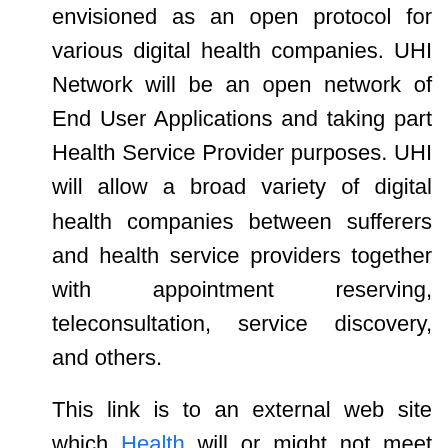envisioned as an open protocol for various digital health companies. UHI Network will be an open network of End User Applications and taking part Health Service Provider purposes. UHI will allow a broad variety of digital health companies between sufferers and health service providers together with appointment reserving, teleconsultation, service discovery, and others.
This link is to an external web site which Health will or might not meet accessibility tips.
It's exhausting to stop smoking and it's time to change the smoking surroundings so we are in a position to make it easier for people who smoke to stop. Making certain there may be Māori leadership and decision-making across all levels of the action plan. As part of this focus space, we're standing up a taskforce to make sure the motion plan is on